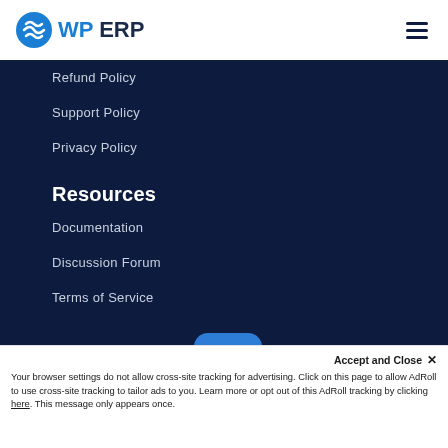WP ERP
Refund Policy
Support Policy
Privacy Policy
Resources
Documentation
Discussion Forum
Terms of Service
Translate WP ERP
Accept and Close ×
Your browser settings do not allow cross-site tracking for advertising. Click on this page to allow AdRoll to use cross-site tracking to tailor ads to you. Learn more or opt out of this AdRoll tracking by clicking here. This message only appears once.